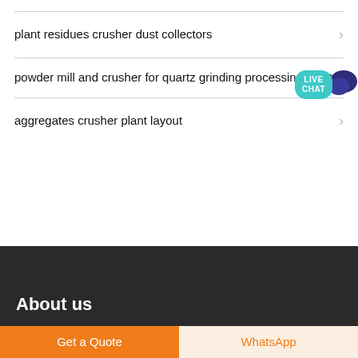plant residues crusher dust collectors
powder mill and crusher for quartz grinding processing plant
aggregates crusher plant layout
[Figure (other): Live Chat widget with teal speech bubble and dark blue chat icon]
About us
Get a Quote
WhatsApp